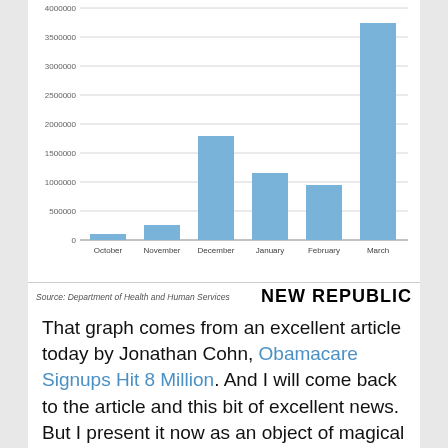[Figure (bar-chart): Obamacare Monthly Signups]
Source: Department of Health and Human Services
That graph comes from an excellent article today by Jonathan Cohn, Obamacare Signups Hit 8 Million. And I will come back to the article and this bit of excellent news. But I present it now as an object of magical properties—for conservatives. They see that huge spike in